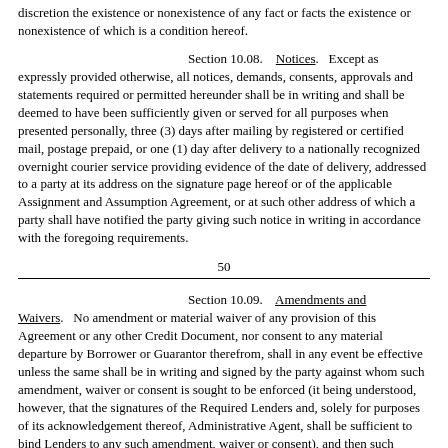discretion the existence or nonexistence of any fact or facts the existence or nonexistence of which is a condition hereof.
Section 10.08.    Notices.    Except as expressly provided otherwise, all notices, demands, consents, approvals and statements required or permitted hereunder shall be in writing and shall be deemed to have been sufficiently given or served for all purposes when presented personally, three (3) days after mailing by registered or certified mail, postage prepaid, or one (1) day after delivery to a nationally recognized overnight courier service providing evidence of the date of delivery, addressed to a party at its address on the signature page hereof or of the applicable Assignment and Assumption Agreement, or at such other address of which a party shall have notified the party giving such notice in writing in accordance with the foregoing requirements.
50
Section 10.09.    Amendments and Waivers.    No amendment or material waiver of any provision of this Agreement or any other Credit Document, nor consent to any material departure by Borrower or Guarantor therefrom, shall in any event be effective unless the same shall be in writing and signed by the party against whom such amendment, waiver or consent is sought to be enforced (it being understood, however, that the signatures of the Required Lenders and, solely for purposes of its acknowledgement thereof, Administrative Agent, shall be sufficient to bind Lenders to any such amendment, waiver or consent), and then such waiver or consent shall be effective only in the specific instance and for the specific purpose for which given; provided, however, that no amendment, waiver or consent shall, unless in writing and signed by all Lenders, do any of the following:  (i) reduce the principal of, or interest on, the Notes or any